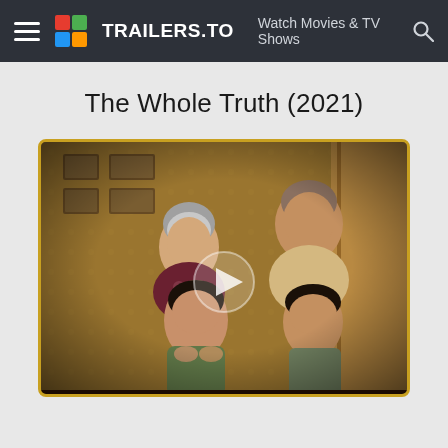TRAILERS.TO  Watch Movies & TV Shows
The Whole Truth (2021)
[Figure (photo): Movie still/thumbnail from 'The Whole Truth (2021)' showing four people — an older woman with short grey hair, an older man, a younger woman, and a teenage boy — posed in a warmly lit interior setting. A play button overlay is visible in the center of the image. The image is framed with a gold/amber border.]